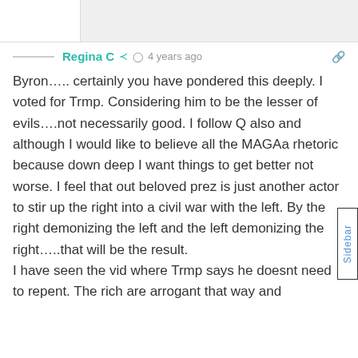Regina C  4 years ago
Byron….. certainly you have pondered this deeply. I voted for Trmp. Considering him to be the lesser of evils….not necessarily good. I follow Q also and although I would like to believe all the MAGAa rhetoric because down deep I want things to get better not worse. I feel that out beloved prez is just another actor to stir up the right into a civil war with the left. By the right demonizing the left and the left demonizing the right…..that will be the result.
I have seen the vid where Trmp says he doesnt need to repent. The rich are arrogant that way and